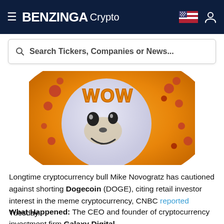BENZINGA Crypto
Search Tickers, Companies or News...
[Figure (photo): Dogecoin meme coin logo showing a cartoon Shiba Inu dog with 'WOW' text on an orange background]
Longtime cryptocurrency bull Mike Novogratz has cautioned against shorting Dogecoin (DOGE), citing retail investor interest in the meme cryptocurrency, CNBC reported Tuesday.
What Happened: The CEO and founder of cryptocurrency investment firm Galaxy Digital